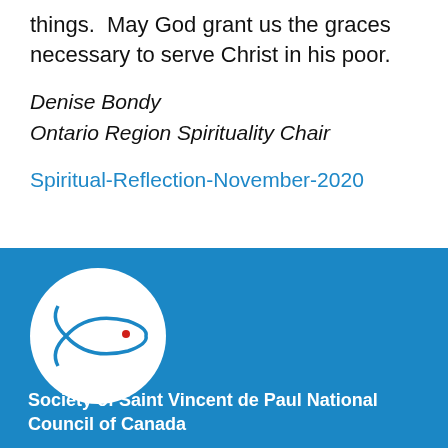things.  May God grant us the graces necessary to serve Christ in his poor.
Denise Bondy
Ontario Region Spirituality Chair
Spiritual-Reflection-November-2020
[Figure (logo): Society of Saint Vincent de Paul logo: white circle with a stylized fish outline and a small red dot, on a blue background]
Society of Saint Vincent de Paul National Council of Canada